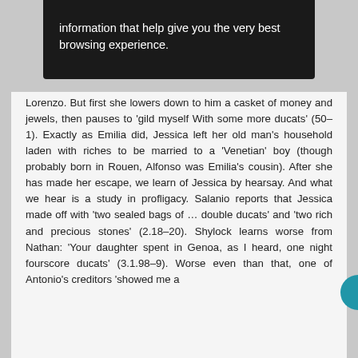information that help give you the very best browsing experience.
Lorenzo. But first she lowers down to him a casket of money and jewels, then pauses to 'gild myself With some more ducats' (50–1). Exactly as Emilia did, Jessica left her old man's household laden with riches to be married to a 'Venetian' boy (though probably born in Rouen, Alfonso was Emilia's cousin). After she has made her escape, we learn of Jessica by hearsay. And what we hear is a study in profligacy. Salanio reports that Jessica made off with 'two sealed bags of … double ducats' and 'two rich and precious stones' (2.18–20). Shylock learns worse from Nathan: 'Your daughter spent in Genoa, as I heard, one night fourscore ducats' (3.1.98–9). Worse even than that, one of Antonio's creditors 'showed me a